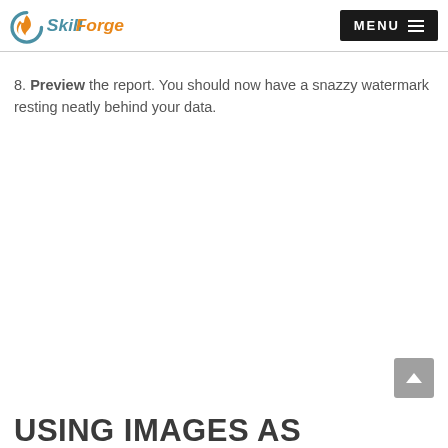SkillForge — MENU
8. Preview the report. You should now have a snazzy watermark resting neatly behind your data.
USING IMAGES AS